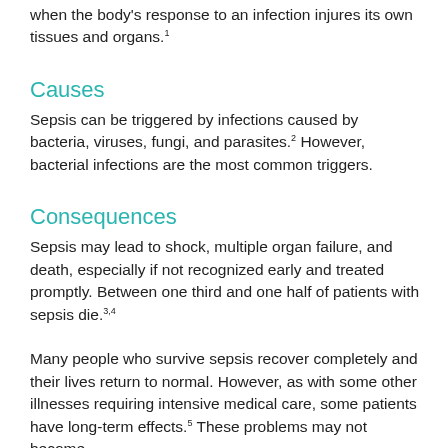when the body's response to an infection injures its own tissues and organs.1
Causes
Sepsis can be triggered by infections caused by bacteria, viruses, fungi, and parasites.2 However, bacterial infections are the most common triggers.
Consequences
Sepsis may lead to shock, multiple organ failure, and death, especially if not recognized early and treated promptly. Between one third and one half of patients with sepsis die.3,4
Many people who survive sepsis recover completely and their lives return to normal. However, as with some other illnesses requiring intensive medical care, some patients have long-term effects.5 These problems may not become